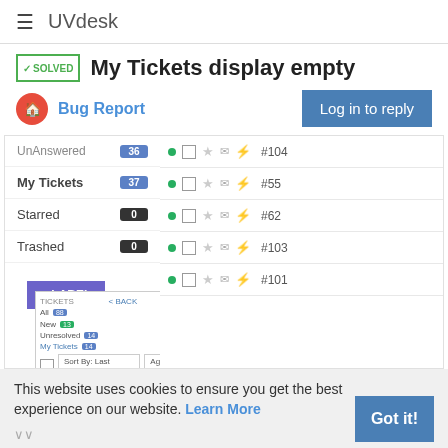≡  UVdesk
✓SOLVED  My Tickets display empty
Bug Report
Log in to reply
[Figure (screenshot): Screenshot of UVdesk helpdesk interface showing left sidebar with: Unanswered 36, My Tickets 37, Starred 0, Trashed 0, + LABEL button. Right side shows ticket list with green dots and ticket numbers #104, #55, #62, #103, #101. Below is a sub-panel showing Tickets panel with Back link, sort options, and column headers ID/Subject.]
This website uses cookies to ensure you get the best experience on our website. Learn More
Got it!